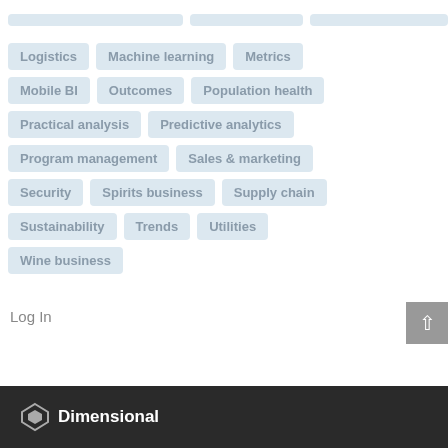Logistics
Machine learning
Metrics
Mobile BI
Outcomes
Population health
Practical analysis
Predictive analytics
Program management
Sales & marketing
Security
Spirits business
Supply chain
Sustainability
Trends
Utilities
Wine business
Log In
Dimensional